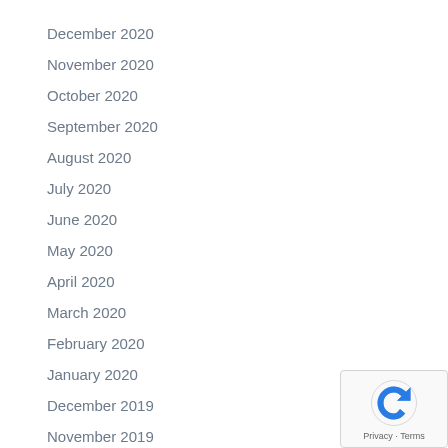December 2020
November 2020
October 2020
September 2020
August 2020
July 2020
June 2020
May 2020
April 2020
March 2020
February 2020
January 2020
December 2019
November 2019
October 2019